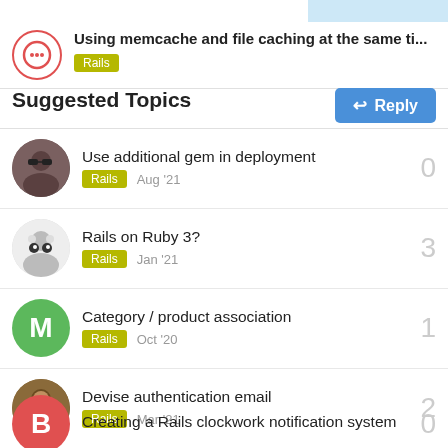Using memcache and file caching at the same ti... [Rails]
Suggested Topics
Use additional gem in deployment | Rails | Aug '21 | 0
Rails on Ruby 3? | Rails | Jan '21 | 3
Category / product association | Rails | Oct '20 | 1
Devise authentication email | Rails | Mar '21 | 2
Creating a Rails clockwork notification system | 0